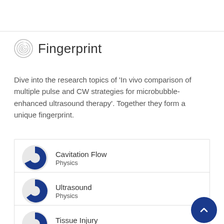Fingerprint
Dive into the research topics of 'In vivo comparison of multiple pulse and CW strategies for microbubble-enhanced ultrasound therapy'. Together they form a unique fingerprint.
Cavitation Flow — Physics
Ultrasound — Physics
Tissue Injury — Medicine and Dentistry